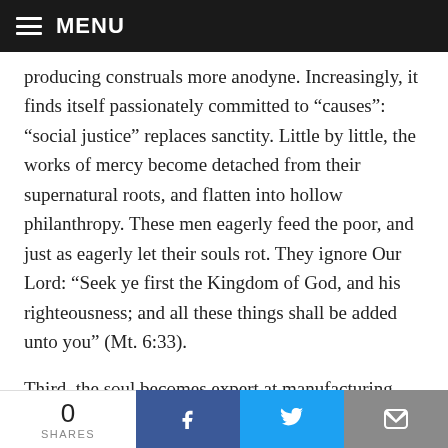MENU
producing construals more anodyne. Increasingly, it finds itself passionately committed to “causes”: “social justice” replaces sanctity. Little by little, the works of mercy become detached from their supernatural roots, and flatten into hollow philanthropy. These men eagerly feed the poor, and just as eagerly let their souls rot. They ignore Our Lord: “Seek ye first the Kingdom of God, and his righteousness; and all these things shall be added unto you” (Mt. 6:33).
Third, the soul becomes expert at manufacturing excuses
0 SHARES